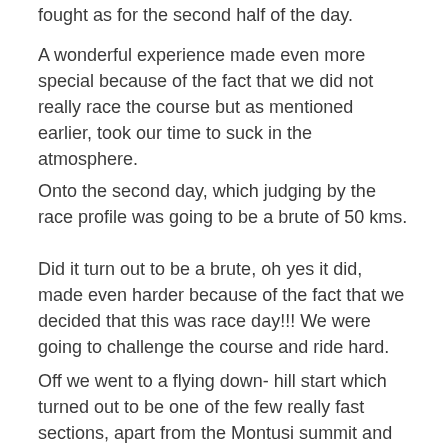fought as for the second half of the day.
A wonderful experience made even more special because of the fact that we did not really race the course but as mentioned earlier, took our time to suck in the atmosphere.
Onto the second day, which judging by the race profile was going to be a brute of 50 kms.
Did it turn out to be a brute, oh yes it did, made even harder because of the fact that we decided that this was race day!!! We were going to challenge the course and ride hard.
Off we went to a flying down- hill start which turned out to be one of the few really fast sections, apart from the Montusi summit and the steep downhill to Mont Aux Sources and then another steep drop, complete with a